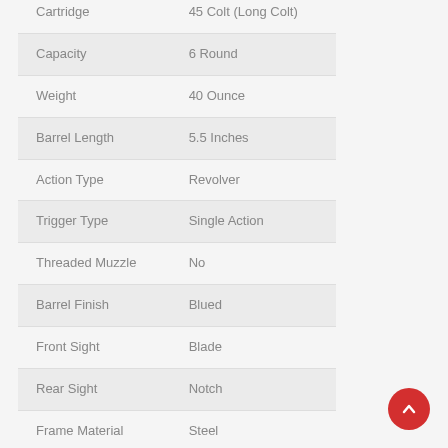| Specification | Value |
| --- | --- |
| Cartridge | 45 Colt (Long Colt) |
| Capacity | 6 Round |
| Weight | 40 Ounce |
| Barrel Length | 5.5 Inches |
| Action Type | Revolver |
| Trigger Type | Single Action |
| Threaded Muzzle | No |
| Barrel Finish | Blued |
| Front Sight | Blade |
| Rear Sight | Notch |
| Frame Material | Steel |
| Grip Material | Wood |